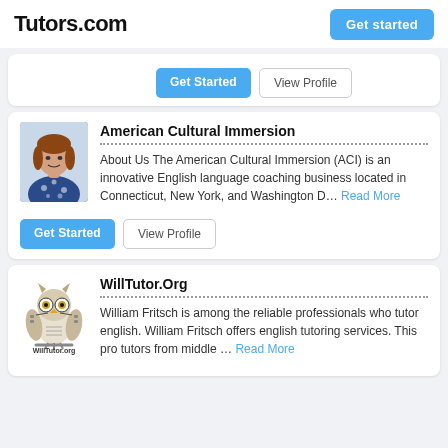Tutors.com
Get started
Get Started | View Profile
American Cultural Immersion
About Us The American Cultural Immersion (ACI) is an innovative English language coaching business located in Connecticut, New York, and Washington D... Read More
Get Started | View Profile
WillTutor.Org
William Fritsch is among the reliable professionals who tutor english. William Fritsch offers english tutoring services. This pro tutors from middle ... Read More